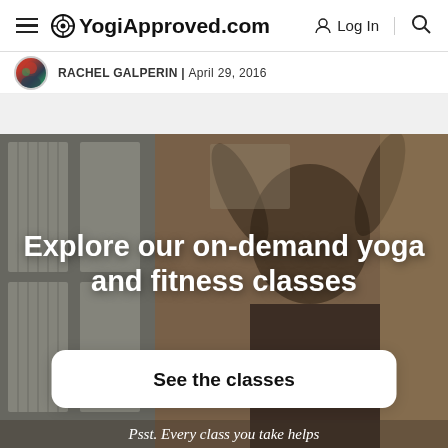YogiApproved.com | Log In | Search
RACHEL GALPERIN | April 29, 2016
[Figure (photo): Woman with arms raised joyfully in front of wooden door panels, promotional banner for on-demand yoga and fitness classes on YogiApproved.com]
Explore our on-demand yoga and fitness classes
See the classes
Psst. Every class you take helps